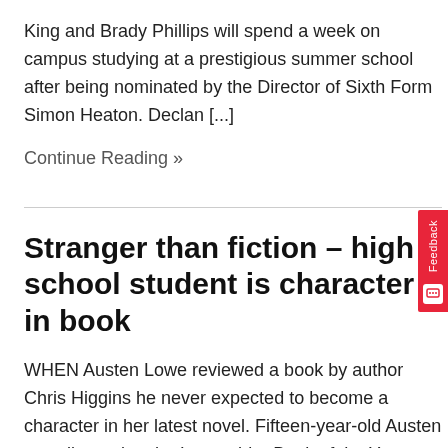King and Brady Phillips will spend a week on campus studying at a prestigious summer school after being nominated by the Director of Sixth Form Simon Heaton. Declan [...]
Continue Reading »
Stranger than fiction – high school student is character in book
WHEN Austen Lowe reviewed a book by author Chris Higgins he never expected to become a character in her latest novel. Fifteen-year-old Austen was discussing the Lancashire Book of the Year at County